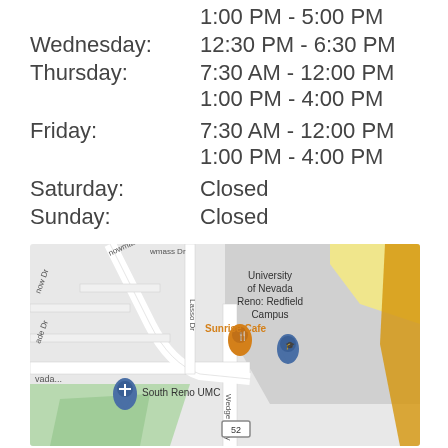1:00 PM - 5:00 PM
Wednesday: 12:30 PM - 6:30 PM
Thursday: 7:30 AM - 12:00 PM / 1:00 PM - 4:00 PM
Friday: 7:30 AM - 12:00 PM / 1:00 PM - 4:00 PM
Saturday: Closed
Sunday: Closed
[Figure (map): Google Maps showing area near University of Nevada Reno Redfield Campus, with Sunrise Cafe, South Reno UMC, Wedge Pkwy, and route 52 visible.]